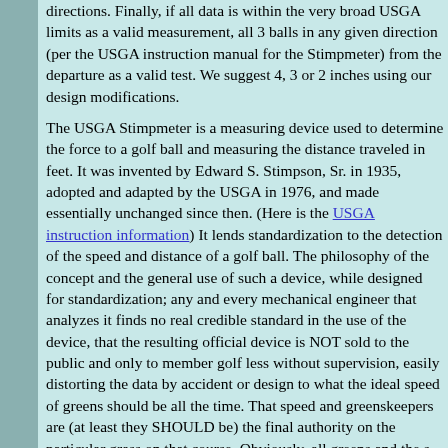directions. Finally, if all data is within the very broad USGA limits as a valid measurement, all 3 balls in any given direction (per the USGA instruction manual for the Stimpmeter) from the departure as a valid test. We suggest 4, 3 or 2 inches using our design modifications.
The USGA Stimpmeter is a measuring device used to determine the force to a golf ball and measuring the distance traveled in feet. It was invented by Edward S. Stimpson, Sr. in 1935, adopted and adapted by the USGA in 1976, and made essentially unchanged since then. (Here is the USGA instruction information) It lends standardization to the detection of the speed and distance of a golf ball. The philosophy of the concept and the general use of such a device, while designed for standardization; any and every mechanical engineer that analyzes it finds no real credible standard in the use of the device, that the resulting official device is NOT sold to the public and only to member golf less without supervision, easily distorting the data by accident or design to what the ideal speed of greens should be all the time. That speed and greenskeepers are (at least they SHOULD be) the final authority on the particular grass on that course. Obviously, all greens and the same less all over the country on EVERY course. That being stated, we have enough built-in variables by nature, without adding additional ones from human measuring without a standard set of rules or guidelines. We have factors in the device and have come up with one plan to cut out the worldwide including metric measurements. We don't want to profit from the game. As a former golf professional, I recognize that the game play it correctly; the key word there is CORRECTLY. The word correctly as intended and play within the scope of the rules. Those that have